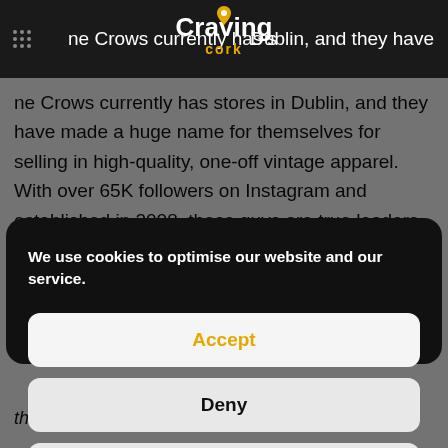Craving Cork
ne Crows currently has stores in Dublin, and they have made a huge name for themselves for selling in high-quality, one-off vintage apparel. With over 65K followers on Instagram and established in 2008, these guys are true leaders in the thrift-
We use cookies to optimise our website and our service.
Accept
Deny
Preferences
Cookie Policy   Privacy Policy
thank you everyone for your support always."